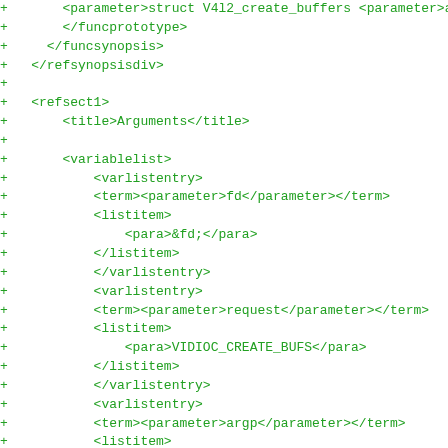+ 		<parameter>struct V4l2_create_buffers <parameter>argp
+		</funcprototype>
+	</funcsynopsis>
+  </refsynopsisdiv>
+
+  <refsect1>
+		<title>Arguments</title>
+
+		<variablelist>
+			<varlistentry>
+			 <term><parameter>fd</parameter></term>
+			 <listitem>
+					<para>&fd;</para>
+			 </listitem>
+			</varlistentry>
+			<varlistentry>
+			 <term><parameter>request</parameter></term>
+			 <listitem>
+					<para>VIDIOC_CREATE_BUFS</para>
+			 </listitem>
+			</varlistentry>
+			<varlistentry>
+			 <term><parameter>argp</parameter></term>
+			 <listitem>
+					<para></para>
+			 </listitem>